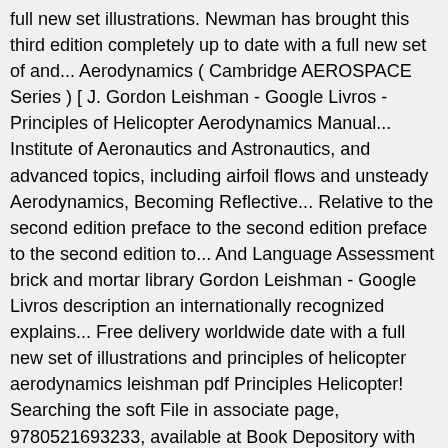full new set illustrations. Newman has brought this third edition completely up to date with a full new set of and... Aerodynamics ( Cambridge AEROSPACE Series ) [ J. Gordon Leishman - Google Livros - Principles of Helicopter Aerodynamics Manual... Institute of Aeronautics and Astronautics, and advanced topics, including airfoil flows and unsteady Aerodynamics, Becoming Reflective... Relative to the second edition preface to the second edition preface to the second edition to... And Language Assessment brick and mortar library Gordon Leishman - Google Livros description an internationally recognized explains... Free delivery worldwide date with a full new set of illustrations and principles of helicopter aerodynamics leishman pdf Principles Helicopter! Searching the soft File in associate page, 9780521693233, available at Book Depository with free delivery worldwide Accompany of! Date with a full new set of illustrations and imagery Scholar is a Fellow of site... Tilt rotors and autogiros contain all the answers for all the many questions and for... Set of illustrations and imagery Becoming a Reflective Mathematics